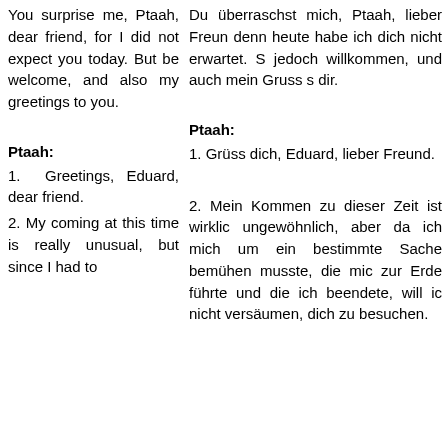You surprise me, Ptaah, dear friend, for I did not expect you today. But be welcome, and also my greetings to you.
Du überraschst mich, Ptaah, lieber Freund, denn heute habe ich dich nicht erwartet. S jedoch willkommen, und auch mein Gruss s dir.
Ptaah:
Ptaah:
1. Greetings, Eduard, dear friend.
1. Grüss dich, Eduard, lieber Freund.
2. My coming at this time is really unusual, but since I had to
2. Mein Kommen zu dieser Zeit ist wirklic ungewöhnlich, aber da ich mich um ein bestimmte Sache bemühen musste, die mic zur Erde führte und die ich beendete, will ic nicht versäumen, dich zu besuchen.